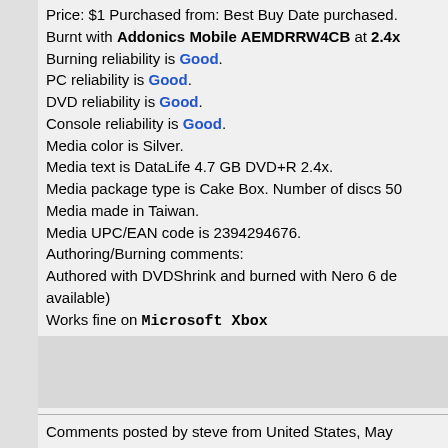Price: $1 Purchased from: Best Buy Date purchased. Burnt with Addonics Mobile AEMDRRW4CB at 2.4x Burning reliability is Good. PC reliability is Good. DVD reliability is Good. Console reliability is Good. Media color is Silver. Media text is DataLife 4.7 GB DVD+R 2.4x. Media package type is Cake Box. Number of discs 50. Media made in Taiwan. Media UPC/EAN code is 2394294676. Authoring/Burning comments: Authored with DVDShrink and burned with Nero 6 de available) Works fine on Microsoft Xbox
Comments posted by steve from United States, May
Silver top w/Purple print